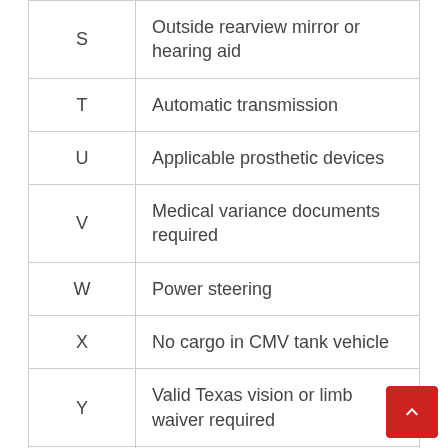| Code | Description |
| --- | --- |
| S | Outside rearview mirror or hearing aid |
| T | Automatic transmission |
| U | Applicable prosthetic devices |
| V | Medical variance documents required |
| W | Power steering |
| X | No cargo in CMV tank vehicle |
| Y | Valid Texas vision or limb waiver required |
| Z | No full air brake |